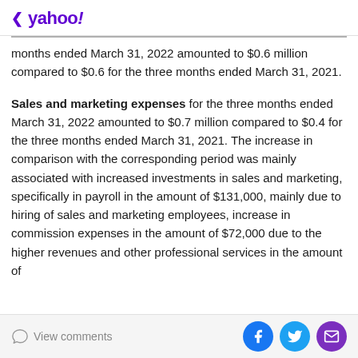< yahoo!
months ended March 31, 2022 amounted to $0.6 million compared to $0.6 for the three months ended March 31, 2021.
Sales and marketing expenses for the three months ended March 31, 2022 amounted to $0.7 million compared to $0.4 for the three months ended March 31, 2021. The increase in comparison with the corresponding period was mainly associated with increased investments in sales and marketing, specifically in payroll in the amount of $131,000, mainly due to hiring of sales and marketing employees, increase in commission expenses in the amount of $72,000 due to the higher revenues and other professional services in the amount of
View comments